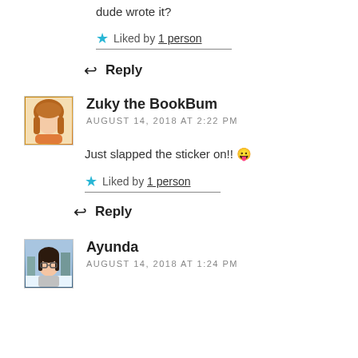dude wrote it?
★ Liked by 1 person
↩ Reply
[Figure (illustration): Avatar image of Zuky the BookBum showing a person with brown curly hair and an orange scarf]
Zuky the BookBum
AUGUST 14, 2018 AT 2:22 PM
Just slapped the sticker on!! 😛
★ Liked by 1 person
↩ Reply
[Figure (photo): Avatar photo of Ayunda showing a young woman with glasses and dark hair in a winter outdoor setting]
Ayunda
AUGUST 14, 2018 AT 1:24 PM